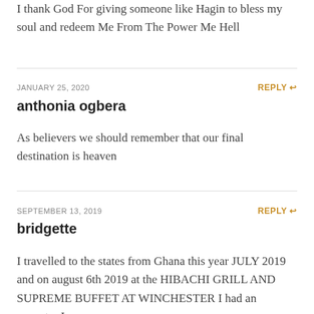I thank God For giving someone like Hagin to bless my soul and redeem Me From The Power Me Hell
JANUARY 25, 2020
REPLY
anthonia ogbera
As believers we should remember that our final destination is heaven
SEPTEMBER 13, 2019
REPLY
bridgette
I travelled to the states from Ghana this year JULY 2019 and on august 6th 2019 at the HIBACHI GRILL AND SUPREME BUFFET AT WINCHESTER I had an ecounter I